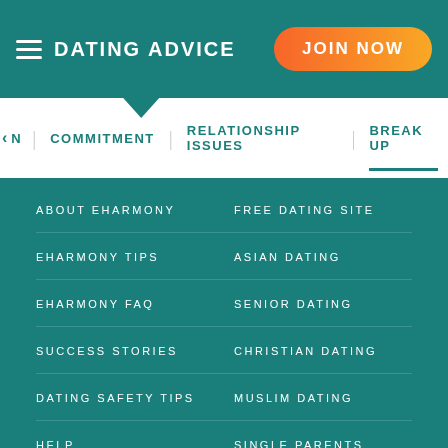DATING ADVICE
JOIN NOW
N | COMMITMENT | RELATIONSHIP ISSUES | BREAK UP
ABOUT EHARMONY
FREE DATING SITE
EHARMONY TIPS
ASIAN DATING
EHARMONY FAQ
SENIOR DATING
SUCCESS STORIES
CHRISTIAN DATING
DATING SAFETY TIPS
MUSLIM DATING
HELP
SINGLE PARENTS DATING